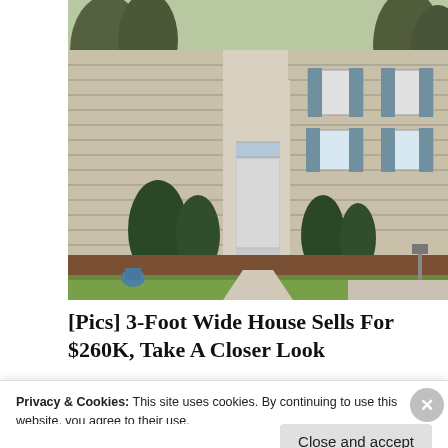[Figure (photo): Exterior photo of a beige/tan colonial-style house with dark shutters, front door, green shrubs, and a green lawn. Trees visible in background.]
[Pics] 3-Foot Wide House Sells For $260K, Take A Closer Look
BuzzFond
[Figure (photo): Partial photo showing a person pointing at a tablet/monitor displaying charts and graphs including a pie chart and bar chart.]
Privacy & Cookies: This site uses cookies. By continuing to use this website, you agree to their use.
To find out more, including how to control cookies, see here: Cookie Policy
Close and accept